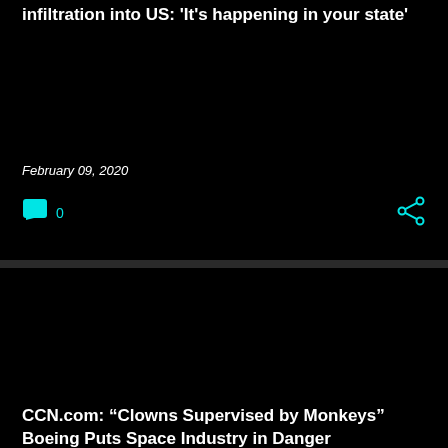infiltration into US: 'It's happening in your state'
February 09, 2020
0
CCN.com: “Clowns Supervised by Monkeys” Boeing Puts Space Industry in Danger